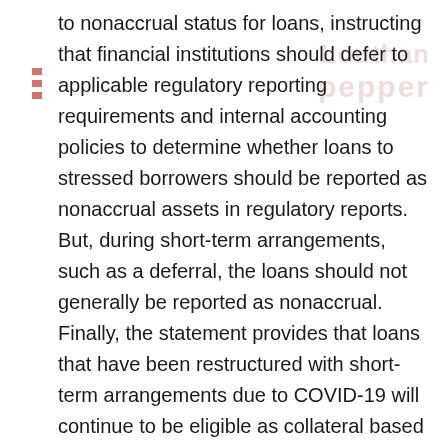to nonaccrual status for loans, instructing that financial institutions should defer to applicable regulatory reporting requirements and internal accounting policies to determine whether loans to stressed borrowers should be reported as nonaccrual assets in regulatory reports. But, during short-term arrangements, such as a deferral, the loans should not generally be reported as nonaccrual. Finally, the statement provides that loans that have been restructured with short-term arrangements due to COVID-19 will continue to be eligible as collateral based on the usual criteria from the FRB.
In sum, the Agencies seem to be prioritizing